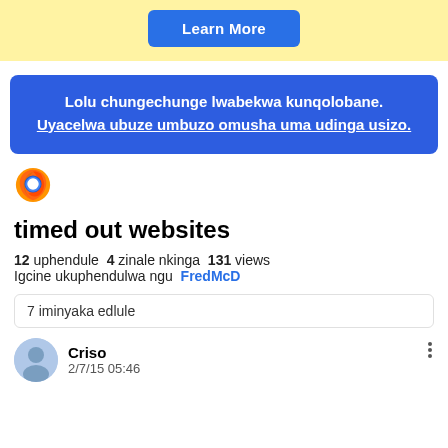[Figure (other): Yellow banner with a blue 'Learn More' button]
Lolu chungechunge lwabekwa kunqolobane. Uyacelwa ubuze umbuzo omusha uma udinga usizo.
[Figure (logo): Firefox browser logo icon]
timed out websites
12 uphendule  4 zinale nkinga  131 views
Igcine ukuphendulwa ngu FredMcD
7 iminyaka edlule
Criso
2/7/15 05:46